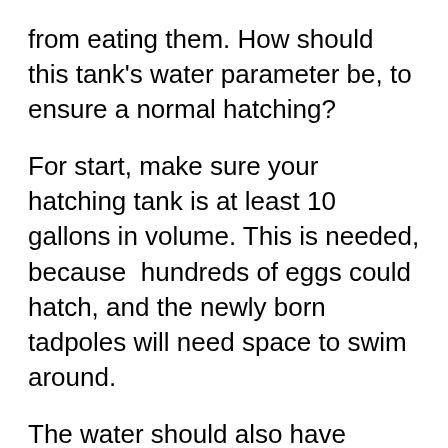from eating them. How should this tank's water parameter be, to ensure a normal hatching?
For start, make sure your hatching tank is at least 10 gallons in volume. This is needed, because  hundreds of eggs could hatch, and the newly born tadpoles will need space to swim around.
The water should also have certain qualities. Make sure you add water that follows the below-written parameters:
pH level of 7.5 to 8.0. if the pH level